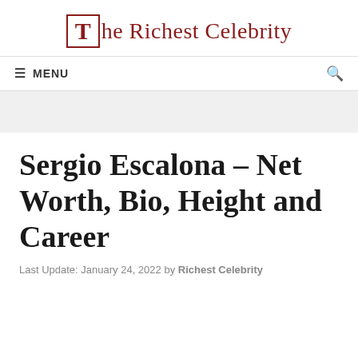The Richest Celebrity
MENU
Sergio Escalona – Net Worth, Bio, Height and Career
Last Update: January 24, 2022 by Richest Celebrity